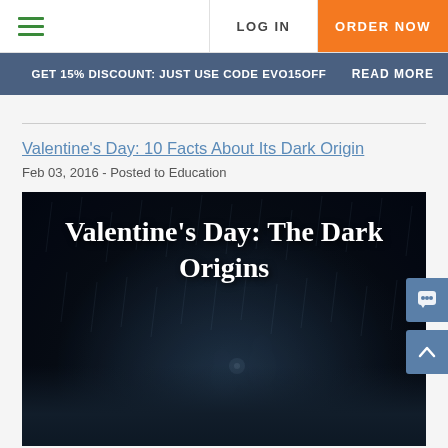LOG IN | ORDER NOW
GET 15% DISCOUNT: JUST USE CODE EVO15OFF   READ MORE
Valentine's Day: 10 Facts About Its Dark Origin
Feb 03, 2016 - Posted to Education
[Figure (photo): Dark romantic photo of two silhouettes in rain with text overlay: Valentine's Day: The Dark Origins]